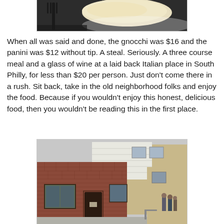[Figure (photo): Top portion of a photo showing food on a dark plate with a black fork, cropped at the top of the page]
When all was said and done, the gnocchi was $16 and the panini was $12 without tip. A steal. Seriously. A three course meal and a glass of wine at a laid back Italian place in South Philly, for less than $20 per person. Just don't come there in a rush. Sit back, take in the old neighborhood folks and enjoy the food. Because if you wouldn't enjoy this honest, delicious food, then you wouldn't be reading this in the first place.
[Figure (photo): Exterior photo of a brick building restaurant in South Philly, showing a corner brick structure with white siding above, windows, a dark door, and people visible on the right side near an entrance]